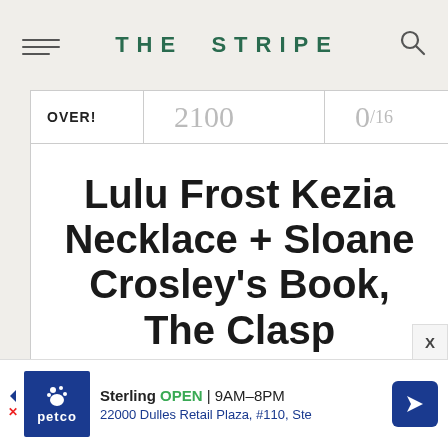THE STRIPE
OVER! 2100 0/16
Lulu Frost Kezia Necklace + Sloane Crosley's Book, The Clasp
And the winners are...
[Figure (other): Petco advertisement banner: Sterling OPEN 9AM-8PM, 22000 Dulles Retail Plaza, #110, Ste]